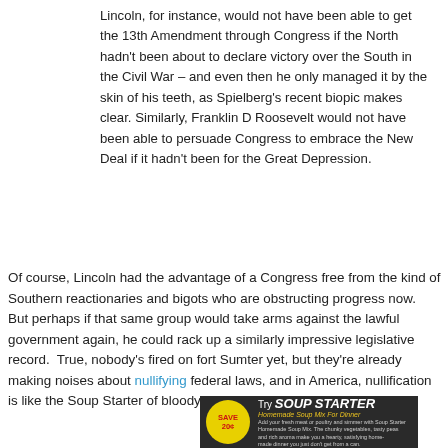Lincoln, for instance, would not have been able to get the 13th Amendment through Congress if the North hadn't been about to declare victory over the South in the Civil War – and even then he only managed it by the skin of his teeth, as Spielberg's recent biopic makes clear. Similarly, Franklin D Roosevelt would not have been able to persuade Congress to embrace the New Deal if it hadn't been for the Great Depression.
Of course, Lincoln had the advantage of a Congress free from the kind of Southern reactionaries and bigots who are obstructing progress now.  But perhaps if that same group would take arms against the lawful government again, he could rack up a similarly impressive legislative record.  True, nobody's fired on fort Sumter yet, but they're already making noises about nullifying federal laws, and in America, nullification is like the Soup Starter of bloody insurrection.
[Figure (photo): Advertisement for Soup Starter Homemade Soup Mix For Dinner, showing a Save 20 cents badge, a jar of soup starter, and product description text on dark background.]